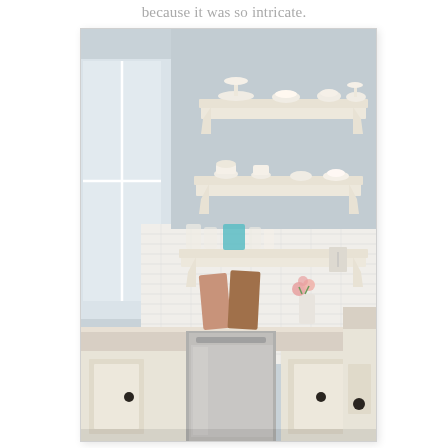because it was so intricate.
[Figure (photo): Kitchen interior with white open shelving displaying dishes and glassware, white subway tile backsplash, cream/white cabinets, stainless steel dishwasher, light granite countertop, wooden cutting boards, and a small vase of pink roses. Light gray walls.]